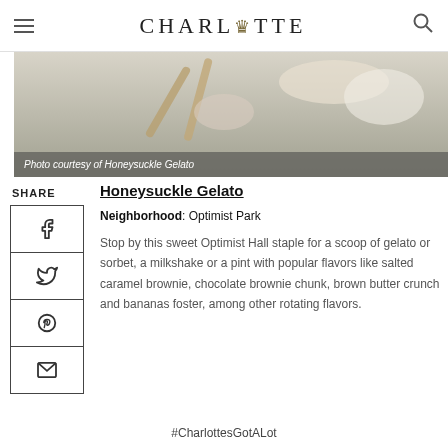CHARLOTTE
[Figure (photo): Close-up photo of gelato/ice cream with spoons on a white background. Caption: Photo courtesy of Honeysuckle Gelato]
Photo courtesy of Honeysuckle Gelato
Honeysuckle Gelato
Neighborhood: Optimist Park
Stop by this sweet Optimist Hall staple for a scoop of gelato or sorbet, a milkshake or a pint with popular flavors like salted caramel brownie, chocolate brownie chunk, brown butter crunch and bananas foster, among other rotating flavors.
#CharlottesGotALot